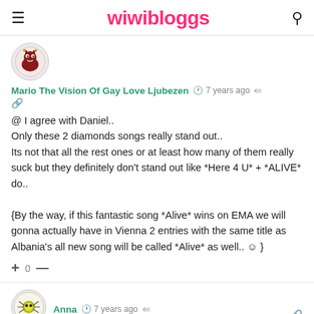wiwibloggs
Mario The Vision Of Gay Love Ljubezen  7 years ago
@ I agree with Daniel..
Only these 2 diamonds songs really stand out..
Its not that all the rest ones or at least how many of them really suck but they definitely don't stand out like *Here 4 U* + *ALIVE* do..

{By the way, if this fantastic song *Alive* wins on EMA we will gonna actually have in Vienna 2 entries with the same title as Albania's all new song will be called *Alive* as well.. ☺ }
Anna  7 years ago